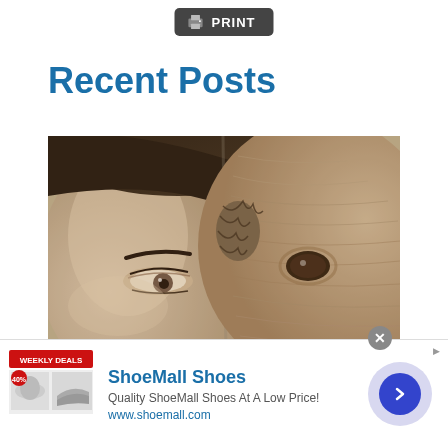[Figure (screenshot): Print button with printer icon on dark grey background]
Recent Posts
[Figure (photo): Close-up sepia-toned photo of a woman's face cheek-to-cheek with a horse, both eyes visible]
[Figure (screenshot): Advertisement bar for ShoeMall Shoes showing weekly deals badge, product images, title 'ShoeMall Shoes', description 'Quality ShoeMall Shoes At A Low Price!', URL www.shoemall.com, and a blue arrow navigation button]